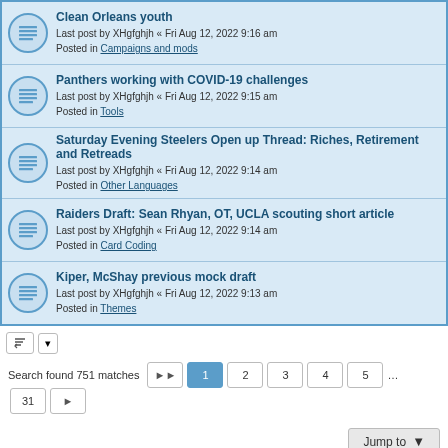Clean Orleans youth
Last post by XHgfghjh « Fri Aug 12, 2022 9:16 am
Posted in Campaigns and mods
Panthers working with COVID-19 challenges
Last post by XHgfghjh « Fri Aug 12, 2022 9:15 am
Posted in Tools
Saturday Evening Steelers Open up Thread: Riches, Retirement and Retreads
Last post by XHgfghjh « Fri Aug 12, 2022 9:14 am
Posted in Other Languages
Raiders Draft: Sean Rhyan, OT, UCLA scouting short article
Last post by XHgfghjh « Fri Aug 12, 2022 9:14 am
Posted in Card Coding
Kiper, McShay previous mock draft
Last post by XHgfghjh « Fri Aug 12, 2022 9:13 am
Posted in Themes
Search found 751 matches  1 2 3 4 5 ... 31
Jump to
Board index  Delete cookies  All times are UTC
Powered by phpBB® Forum Software © phpBB Limited